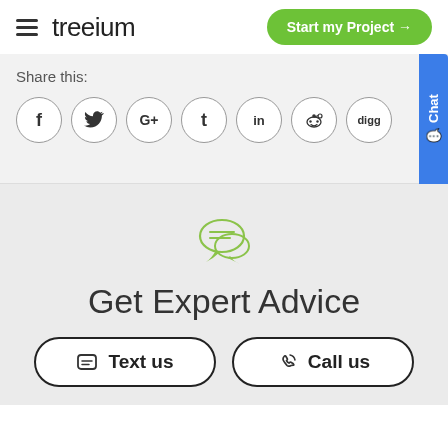treeium — Start my Project →
Share this:
[Figure (infographic): Row of 7 social sharing icon buttons in circles: f (Facebook), Twitter bird, G+, t (Tumblr), in (LinkedIn), Reddit alien, digg]
[Figure (illustration): Green speech bubble / chat icon]
Get Expert Advice
Text us  |  Call us